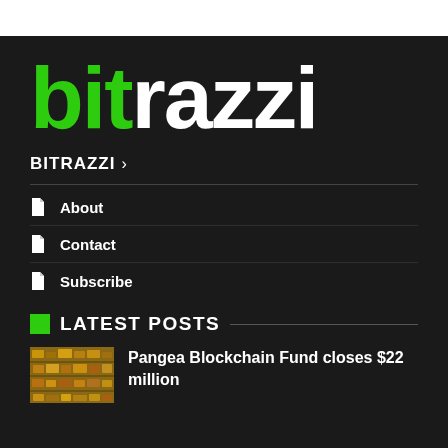[Figure (logo): Bitrazzi logo with 'bit' in green and 'razzi' in white on dark background]
BITRAZZI ›
About
Contact
Subscribe
LATEST POSTS
Pangea Blockchain Fund closes $22 million